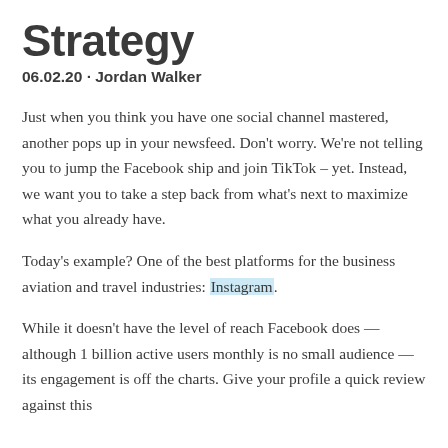Strategy
06.02.20 · Jordan Walker
Just when you think you have one social channel mastered, another pops up in your newsfeed. Don't worry. We're not telling you to jump the Facebook ship and join TikTok – yet. Instead, we want you to take a step back from what's next to maximize what you already have.
Today's example? One of the best platforms for the business aviation and travel industries: Instagram.
While it doesn't have the level of reach Facebook does — although 1 billion active users monthly is no small audience — its engagement is off the charts. Give your profile a quick review against this